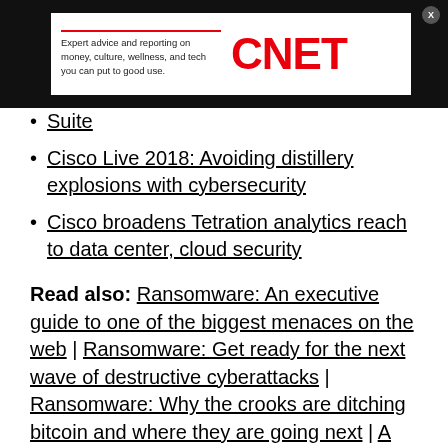[Figure (screenshot): CNET advertisement banner with tagline 'Expert advice and reporting on money, culture, wellness, and tech you can put to good use.' and CNET logo in red on white background, on dark background with close button]
Suite
Cisco Live 2018: Avoiding distillery explosions with cybersecurity
Cisco broadens Tetration analytics reach to data center, cloud security
Read also: Ransomware: An executive guide to one of the biggest menaces on the web | Ransomware: Get ready for the next wave of destructive cyberattacks | Ransomware: Why the crooks are ditching bitcoin and where they are going next | A Winning Strategy for Cybersecurity